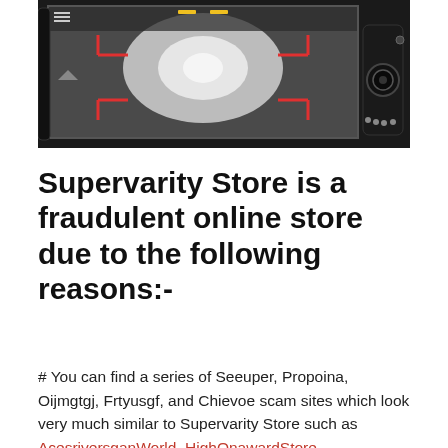[Figure (photo): A car backup camera display showing a rear-view camera feed with red and yellow guide lines on a dark road, with the camera device visible in the lower right corner.]
Supervarity Store is a fraudulent online store due to the following reasons:-
# You can find a series of Seeuper, Propoina, Oijmgtgj, Frtyusgf, and Chievoe scam sites which look very much similar to Supervarity Store such as AcesriversganWorld, HighOnawardStore, Shop.Mulrespect, Sgsgsqrq.MyShopify, Andrawatts.MyShopify, Ferdinandlane.MyShopify, Kathlynund.MyShopify, Deewd.MyShopify, Bcudg, Coubiy,